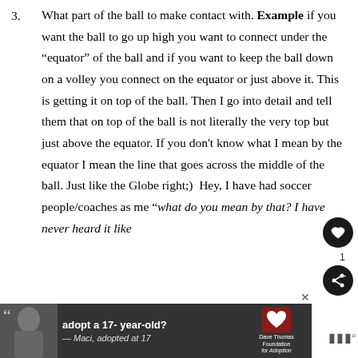3. What part of the ball to make contact with. Example if you want the ball to go up high you want to connect under the "equator" of the ball and if you want to keep the ball down on a volley you connect on the equator or just above it. This is getting it on top of the ball. Then I go into detail and tell them that on top of the ball is not literally the very top but just above the equator. If you don't know what I mean by the equator I mean the line that goes across the middle of the ball. Just like the Globe right;)  Hey, I have had soccer people/coaches as me "what do you mean by that? I have never heard it like
[Figure (other): Advertisement banner: adopt a 17-year-old? — Maci, adopted at 17. Dave Thomas Foundation for Adoption logo.]